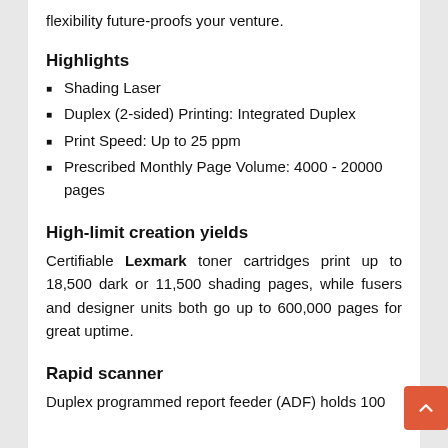flexibility future-proofs your venture.
Highlights
Shading Laser
Duplex (2-sided) Printing: Integrated Duplex
Print Speed: Up to 25 ppm
Prescribed Monthly Page Volume: 4000 - 20000 pages
High-limit creation yields
Certifiable Lexmark toner cartridges print up to 18,500 dark or 11,500 shading pages, while fusers and designer units both go up to 600,000 pages for great uptime.
Rapid scanner
Duplex programmed report feeder (ADF) holds 100